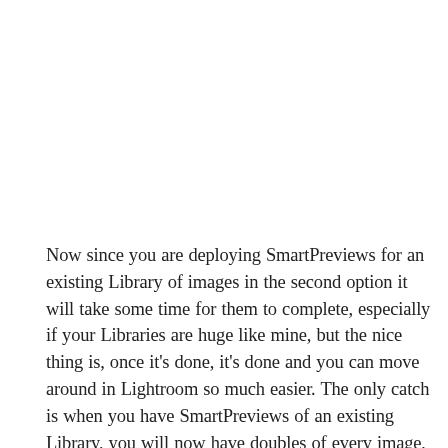Now since you are deploying SmartPreviews for an existing Library of images in the second option it will take some time for them to complete, especially if your Libraries are huge like mine, but the nice thing is, once it's done, it's done and you can move around in Lightroom so much easier. The only catch is when you have SmartPreviews of an existing Library, you will now have doubles of every image, in a way, but the way around this is